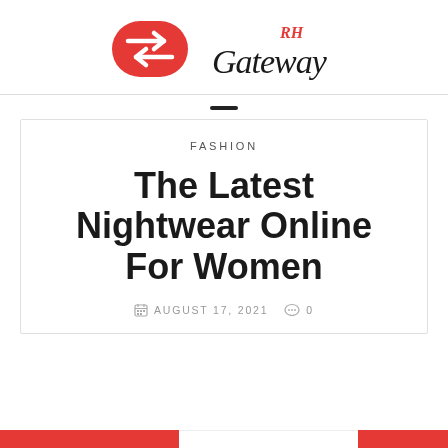[Figure (logo): Gateway RH logo with red pill-shaped icon featuring two horizontal arrows (right and left) and handwritten-style 'Gateway' text with red 'RH' superscript]
FASHION
The Latest Nightwear Online For Women
AUGUST 17, 2021   0